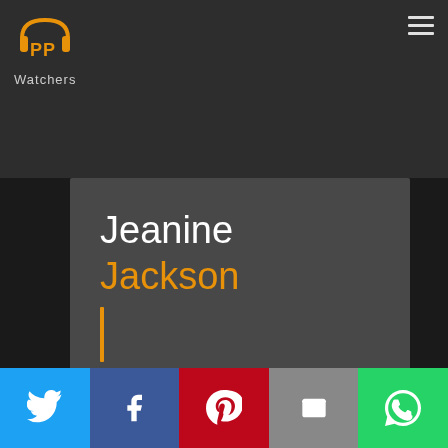[Figure (logo): PP Watchers logo - orange stylized headphone/PP icon with 'Watchers' text below]
Jeanine Jackson
Imdb Profile : IMDB Profile
[Figure (infographic): Social share bar with Twitter, Facebook, Pinterest, Email, and WhatsApp buttons]